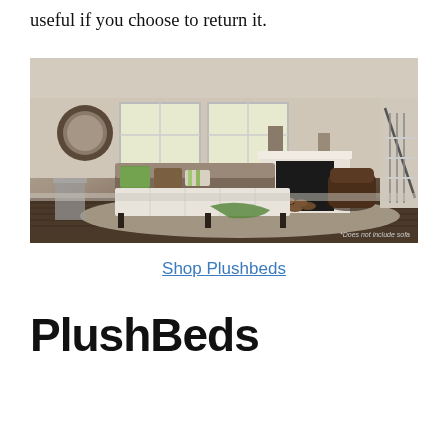useful if you choose to return it.
[Figure (photo): A living room scene showing a sleeper sofa with the mattress pulled out, decorated with green patterned pillows and a green throw blanket. The room features a fireplace with a white mantle, a decorative round mirror, large windows, hardwood floors, a beige area rug, and a staircase in the background. A leather chair is visible on the right. A watermark reads '*Does not include sofa'.]
Shop Plushbeds
PlushBeds